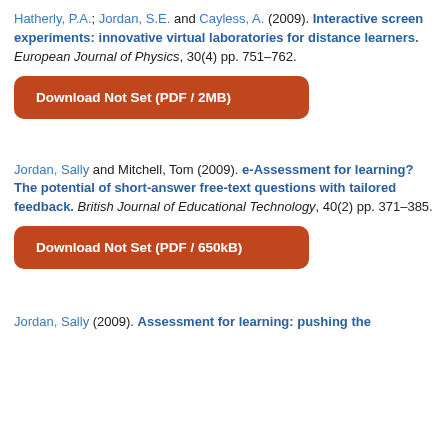Hatherly, P.A.; Jordan, S.E. and Cayless, A. (2009). Interactive screen experiments: innovative virtual laboratories for distance learners. European Journal of Physics, 30(4) pp. 751–762.
Download Not Set (PDF / 2MB)
Jordan, Sally and Mitchell, Tom (2009). e-Assessment for learning? The potential of short-answer free-text questions with tailored feedback. British Journal of Educational Technology, 40(2) pp. 371–385.
Download Not Set (PDF / 650kB)
Jordan, Sally (2009). Assessment for learning: pushing the